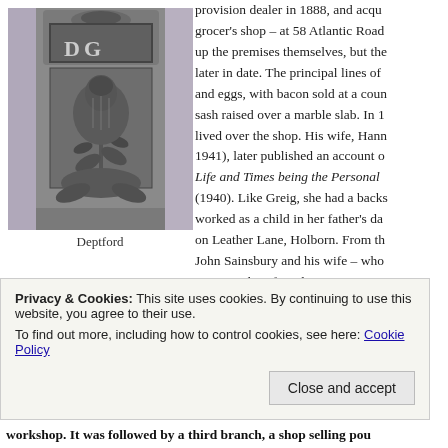[Figure (photo): Carved stone architectural detail showing a thistle motif and monogram 'DG' at a building in Deptford]
Deptford
provision dealer in 1888, and acqu grocer's shop – at 58 Atlantic Road up the premises themselves, but the later in date. The principal lines of and eggs, with bacon sold at a coun sash raised over a marble slab. In 1 lived over the shop. His wife, Hann 1941), later published an account o Life and Times being the Personal (1940). Like Greig, she had a backs worked as a child in her father's da on Leather Lane, Holborn. From th John Sainsbury and his wife – who amongst their friends.
Privacy & Cookies: This site uses cookies. By continuing to use this website, you agree to their use.
To find out more, including how to control cookies, see here: Cookie Policy
Close and accept
workshop. It was followed by a third branch, a shop selling pou